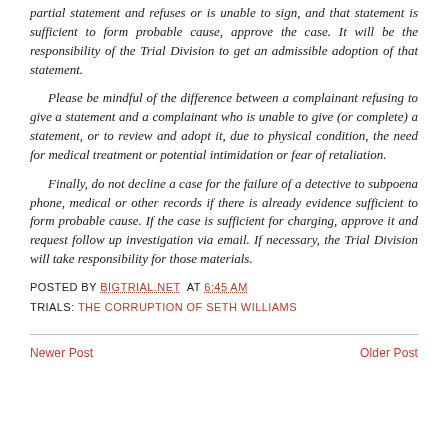partial statement and refuses or is unable to sign, and that statement is sufficient to form probable cause, approve the case. It will be the responsibility of the Trial Division to get an admissible adoption of that statement.
Please be mindful of the difference between a complainant refusing to give a statement and a complainant who is unable to give (or complete) a statement, or to review and adopt it, due to physical condition, the need for medical treatment or potential intimidation or fear of retaliation.
Finally, do not decline a case for the failure of a detective to subpoena phone, medical or other records if there is already evidence sufficient to form probable cause. If the case is sufficient for charging, approve it and request follow up investigation via email. If necessary, the Trial Division will take responsibility for those materials.
POSTED BY BIGTRIAL.NET AT 6:45 AM
TRIALS: THE CORRUPTION OF SETH WILLIAMS
Newer Post
Older Post